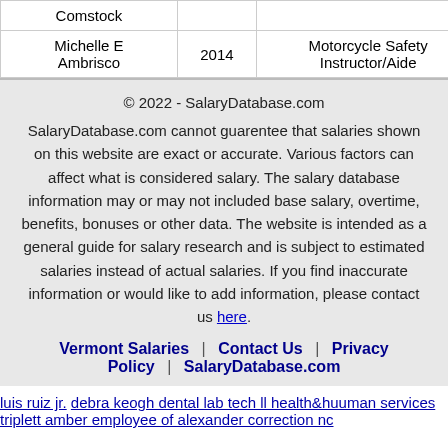| Name | Year | Job Title | Department |
| --- | --- | --- | --- |
| Comstock |  |  |  |
| Michelle E Ambrisco | 2014 | Motorcycle Safety Instructor/Aide | Transpo... |
© 2022 - SalaryDatabase.com
SalaryDatabase.com cannot guarentee that salaries shown on this website are exact or accurate. Various factors can affect what is considered salary. The salary database information may or may not included base salary, overtime, benefits, bonuses or other data. The website is intended as a general guide for salary research and is subject to estimated salaries instead of actual salaries. If you find inaccurate information or would like to add information, please contact us here.
Vermont Salaries | Contact Us | Privacy Policy | SalaryDatabase.com
luis ruiz jr. debra keogh dental lab tech ll health&huuman services triplett amber employee of alexander correction nc